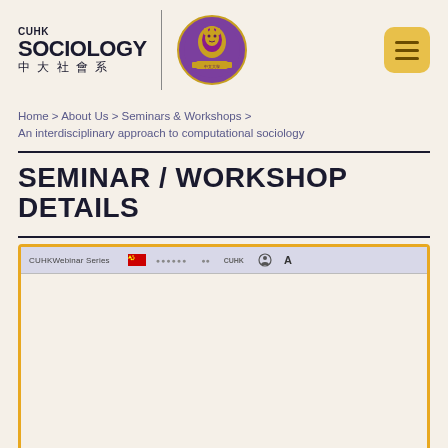[Figure (logo): CUHK Sociology logo with Chinese text 中大社會系, a vertical divider, and the CUHK university seal crest, plus a hamburger menu button on the right]
Home > About Us > Seminars & Workshops > An interdisciplinary approach to computational sociology
SEMINAR / WORKSHOP DETAILS
[Figure (screenshot): Partial screenshot of CUHK Webinar Series webpage showing browser toolbar with navigation icons, flags, and text elements]